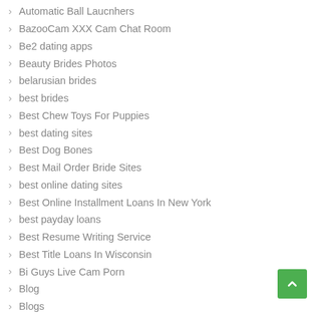Automatic Ball Laucnhers
BazooCam XXX Cam Chat Room
Be2 dating apps
Beauty Brides Photos
belarusian brides
best brides
Best Chew Toys For Puppies
best dating sites
Best Dog Bones
Best Mail Order Bride Sites
best online dating sites
Best Online Installment Loans In New York
best payday loans
Best Resume Writing Service
Best Title Loans In Wisconsin
Bi Guys Live Cam Porn
Blog
Blogs
blog web sites